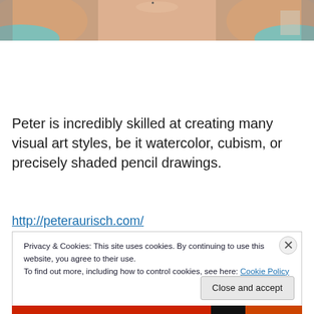[Figure (photo): Partial photo showing a person's torso/shoulders from behind, with skin tones and a teal/turquoise garment visible at the edges.]
Peter is incredibly skilled at creating many visual art styles, be it watercolor, cubism, or precisely shaded pencil drawings.
http://peteraurisch.com/
Privacy & Cookies: This site uses cookies. By continuing to use this website, you agree to their use.
To find out more, including how to control cookies, see here: Cookie Policy
Close and accept